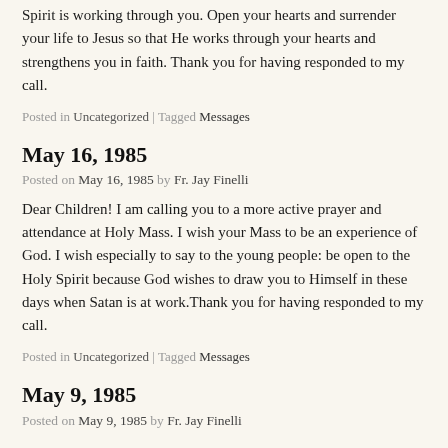Spirit is working through you. Open your hearts and surrender your life to Jesus so that He works through your hearts and strengthens you in faith. Thank you for having responded to my call.
Posted in Uncategorized | Tagged Messages
May 16, 1985
Posted on May 16, 1985 by Fr. Jay Finelli
Dear Children! I am calling you to a more active prayer and attendance at Holy Mass. I wish your Mass to be an experience of God. I wish especially to say to the young people: be open to the Holy Spirit because God wishes to draw you to Himself in these days when Satan is at work.Thank you for having responded to my call.
Posted in Uncategorized | Tagged Messages
May 9, 1985
Posted on May 9, 1985 by Fr. Jay Finelli